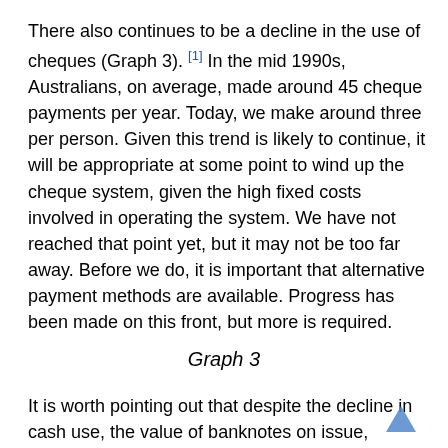There also continues to be a decline in the use of cheques (Graph 3). [1] In the mid 1990s, Australians, on average, made around 45 cheque payments per year. Today, we make around three per person. Given this trend is likely to continue, it will be appropriate at some point to wind up the cheque system, given the high fixed costs involved in operating the system. We have not reached that point yet, but it may not be too far away. Before we do, it is important that alternative payment methods are available. Progress has been made on this front, but more is required.
Graph 3
It is worth pointing out that despite the decline in cash use, the value of banknotes on issue, relative to the